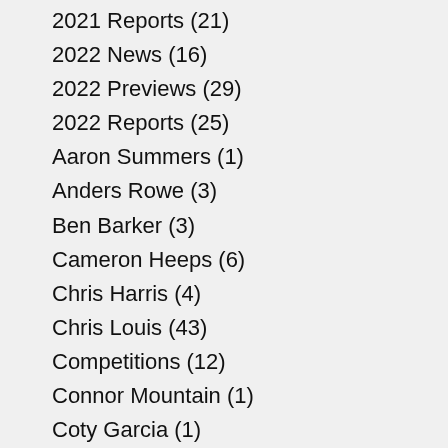2021 Reports (21)
2022 News (16)
2022 Previews (29)
2022 Reports (25)
Aaron Summers (1)
Anders Rowe (3)
Ben Barker (3)
Cameron Heeps (6)
Chris Harris (4)
Chris Louis (43)
Competitions (12)
Connor Mountain (1)
Coty Garcia (1)
Craig Cook (4)
Danny Ayres (7)
Danny King (38)
Danyon Hume (4)